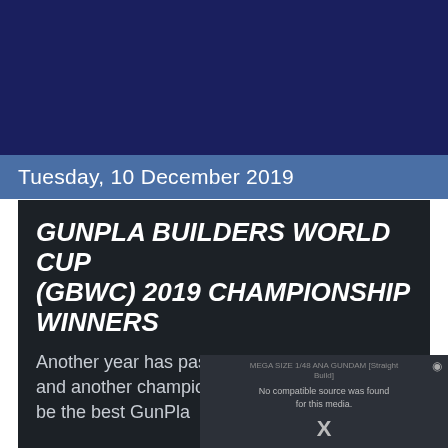Tuesday, 10 December 2019
GUNPLA BUILDERS WORLD CUP (GBWC) 2019 CHAMPIONSHIP WINNERS
Another year has passed for all the modelers and another champion has been crowned to be the best GunPla
[Figure (screenshot): Video player overlay showing 'MEGA SIZE 1/48 ANA GUNDAM [Straight Build]' with 'No compatible source was found for this media.' error message and a large X close button]